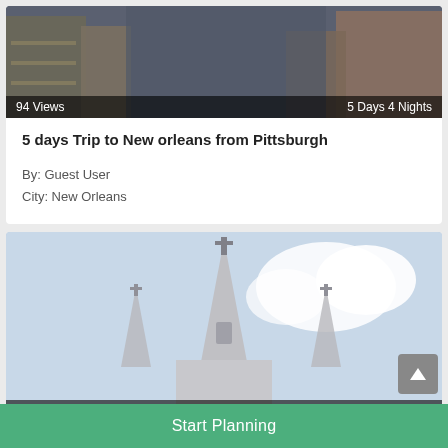[Figure (photo): Street scene photo of New Orleans showing a narrow street with balconied buildings. Bottom overlay shows '94 Views' on left and '5 Days 4 Nights' on right.]
5 days Trip to New orleans from Pittsburgh
By: Guest User
City: New Orleans
[Figure (photo): Photo of a church steeple/cathedral with cross on top against a partly cloudy sky. Bottom overlay shows '78 Views' on left and '5 Days 4 Nights' on right.]
5 days Trip to New orleans from New Rochelle
Start Planning